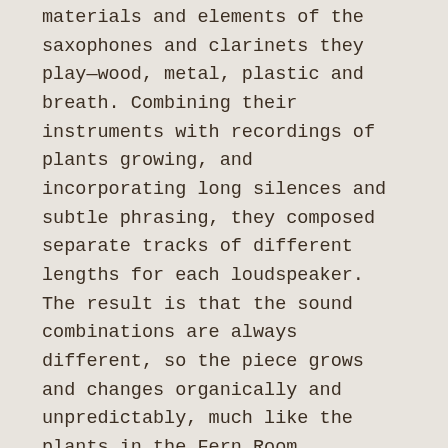materials and elements of the saxophones and clarinets they play—wood, metal, plastic and breath. Combining their instruments with recordings of plants growing, and incorporating long silences and subtle phrasing, they composed separate tracks of different lengths for each loudspeaker. The result is that the sound combinations are always different, so the piece grows and changes organically and unpredictably, much like the plants in the Fern Room.
Exhibition hours: DAILY, 9:00AM-5:00PM
Opening Reception:Sunday, February 1, 3-5pm